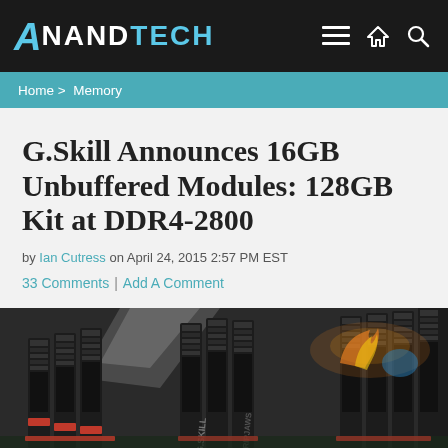AnandTech
Home > Memory
G.Skill Announces 16GB Unbuffered Modules: 128GB Kit at DDR4-2800
by Ian Cutress on April 24, 2015 2:57 PM EST
33 Comments | Add A Comment
[Figure (photo): Close-up photo of G.Skill Ripjaws 4 DDR4 memory modules installed on a motherboard, showing black heatspreaders with orange/red accents and the Ripjaws 4 logo.]